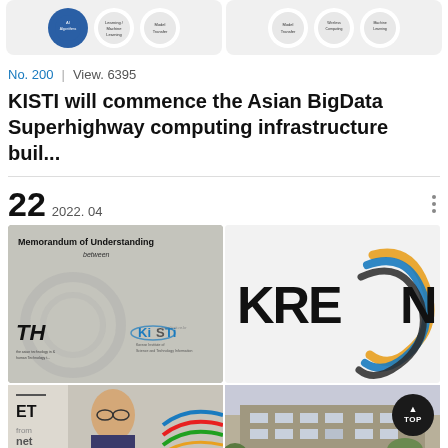[Figure (screenshot): Top section showing two cards with circular chip icons for AI topics including AI Algorithms, Learning/Machine Learning, Model Transfer, Wireless Computing, Machine Learning]
No. 200  |  View. 6395
KISTI will commence the Asian BigData Superhighway computing infrastructure buil...
22  2022. 04
[Figure (photo): Memorandum of Understanding between TH and KiSTi logos with gear background image]
[Figure (logo): KREON logo with colorful swirling design]
[Figure (photo): ET / net lower left card with person photo and colorful ribbon lines]
[Figure (photo): Building exterior photo on lower right]
[Figure (screenshot): TOP button circular dark button at bottom right]